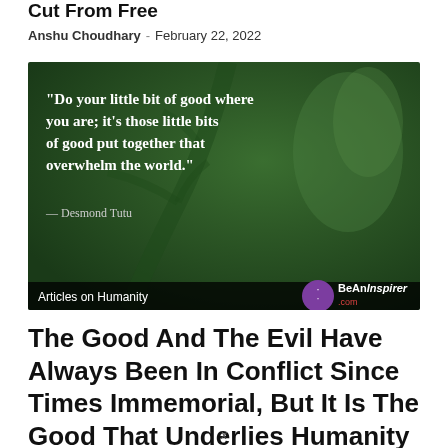Cut From Free
Anshu Choudhary - February 22, 2022
[Figure (photo): Inspirational quote image over a green leaf background. Quote reads: "Do your little bit of good where you are; it's those little bits of good put together that overwhelm the world." — Desmond Tutu. Bottom left label: Articles on Humanity. Bottom right: BeAnInspirer.com logo.]
The Good And The Evil Have Always Been In Conflict Since Times Immemorial, But It Is The Good That Underlies Humanity And